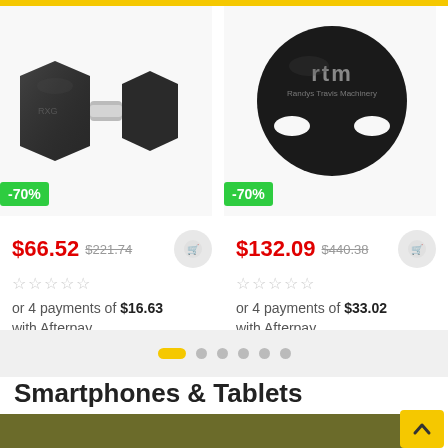[Figure (photo): Rubber hex dumbbell with -70% discount badge]
$66.52 $221.74
or 4 payments of $16.63 with Afterpay
[Figure (photo): RTM Randy's Travis Machinery medicine ball with handles and -70% discount badge]
$132.09 $440.38
or 4 payments of $33.02 with Afterpay
[Figure (other): Pagination dots: one yellow pill and five grey circles]
Smartphones & Tablets
[Figure (photo): Olive/dark yellow banner image partially visible at bottom]